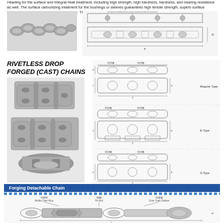Heading for the surface and integral heat treatment, including high strength, high hardness, hardness, and bearing resistance as well. The surface carbonizing treatment for the bushings or sleeves guarantees high tensile strength, superb surface hardness, and improved impact resistance. These make sure the heavy duty transmission chain has extended service life.
[Figure (photo): Photo of heavy duty transmission chain links]
[Figure (engineering-diagram): Technical drawing of heavy duty transmission chain with dimensional annotations]
RIVETLESS DROP FORGED (CAST) CHAINS & TROLLEY 悬挂链与挂架
[Figure (photo): Photos of rivetless drop forged chain and trolley components]
[Figure (engineering-diagram): Technical drawings showing Regular Type, E-Type, and S-Type rivetless drop forged chains with dimensional annotations]
Forging Detachable Chain
[Figure (engineering-diagram): Diagram of forging detachable chain showing Middle Chain Ring, Pin Roll, and Outer Chain Sidebar components with labels in Chinese and English, plus dimensional drawing below]